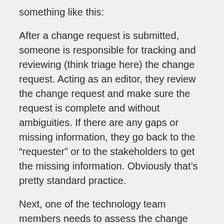something like this:
After a change request is submitted, someone is responsible for tracking and reviewing (think triage here) the change request. Acting as an editor, they review the change request and make sure the request is complete and without ambiguities. If there are any gaps or missing information, they go back to the “requester” or to the stakeholders to get the missing information. Obviously that’s pretty standard practice.
Next, one of the technology team members needs to assess the change request and determine what, if any, impact it will have on the current plans. By assessing, I mean sitting down and evaluating the impact of this change request against schedule, budget and staff. They may also identify questions for the stakeholders that need to be answered before they can complete